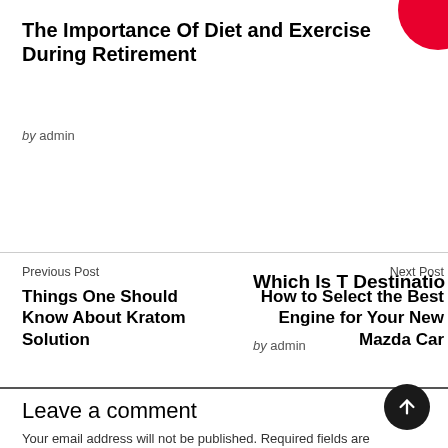The Importance Of Diet and Exercise During Retirement
by admin
Which Is T... Destinatio...
by admin
Previous Post
Things One Should Know About Kratom Solution
Next Post
How to Select the Best Engine for Your New Mazda Car
Leave a comment
Your email address will not be published. Required fields are